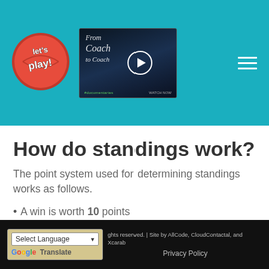Let's Play! — site header with logo, video thumbnail, and navigation menu
How do standings work?
The point system used for determining standings works as follows.
A win is worth 10 points
A tie is worth 5 points
A loss is worth 0 points
You get 1 point for each goal up to 5 points
rights reserved. | Site by AllCode, CloudContactal, and Xcarab  Privacy Policy  Select Language  Google Translate